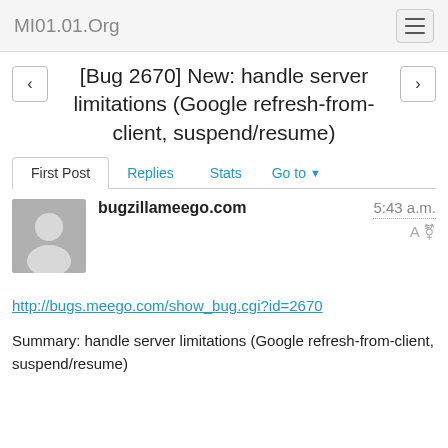MI01.01.Org
[Bug 2670] New: handle server limitations (Google refresh-from-client, suspend/resume)
First Post  Replies  Stats  Go to
bugzilla►imeego.com   5:43 a.m.
http://bugs.meego.com/show_bug.cgi?id=2670
Summary: handle server limitations (Google refresh-from-client, suspend/resume)